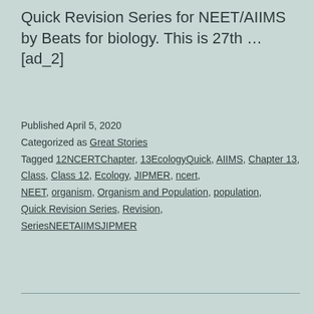Quick Revision Series for NEET/AIIMS by Beats for biology. This is 27th … [ad_2]
Published April 5, 2020
Categorized as Great Stories
Tagged 12NCERTChapter, 13EcologyQuick, AIIMS, Chapter 13, Class, Class 12, Ecology, JIPMER, ncert, NEET, organism, Organism and Population, population, Quick Revision Series, Revision, SeriesNEETAIIMSJIPMER